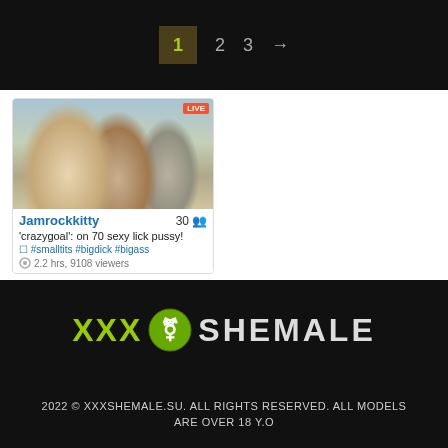1  2  3  →
[Figure (screenshot): Webcam thumbnail showing three people sitting on a bed, with username Jamrockkitty, count 30, goal text 'crazygoal': on 70 sexy lick pussy!, tags #smalltits #bigdick #bigass, 2.2 hrs, 9108 viewers]
[Figure (logo): XXX transgender symbol SHEMALE brand logo in green and grey on dark background]
2022 © XXXSHEMALE.SU. ALL RIGHTS RESERVED. ALL MODELS ARE OVER 18 Y.O